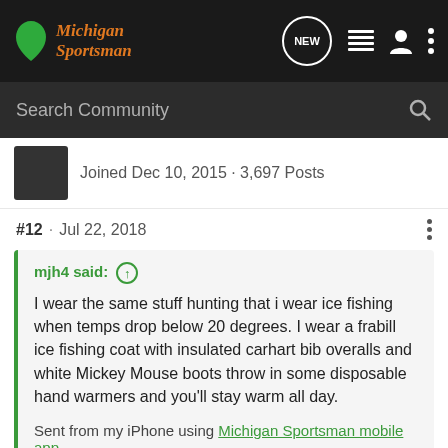[Figure (screenshot): Michigan Sportsman website navigation bar with logo, NEW chat button, list icon, user icon, and three-dot menu]
[Figure (screenshot): Search Community search bar with magnifying glass icon]
Joined Dec 10, 2015 · 3,697 Posts
#12 · Jul 22, 2018
mjh4 said: ⊕
I wear the same stuff hunting that i wear ice fishing when temps drop below 20 degrees. I wear a frabill ice fishing coat with insulated carhart bib overalls and white Mickey Mouse boots throw in some disposable hand warmers and you'll stay warm all day.

Sent from my iPhone using Michigan Sportsman mobile app
Isn't tha
[Figure (photo): Glock OPTIC READY SLIMLINE advertisement banner with MOS logo, FIND A DEALER button, and Glock Perfection logo]